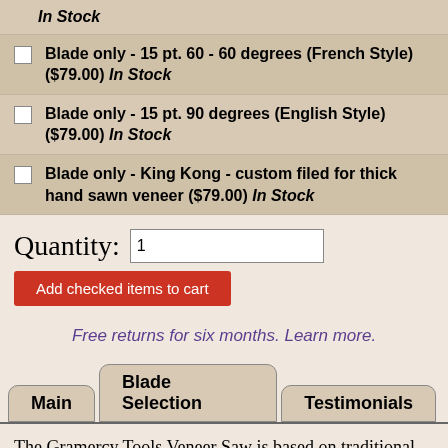In Stock
Blade only - 15 pt. 60 - 60 degrees (French Style) ($79.00) In Stock
Blade only - 15 pt. 90 degrees (English Style) ($79.00) In Stock
Blade only - King Kong - custom filed for thick hand sawn veneer ($79.00) In Stock
Quantity: 1
Add checked items to cart
Free returns for six months. Learn more.
Main | Blade Selection | Testimonials
The Gramercy Tools Veneer Saw is based on traditional French pattern veneer saws, and is designed to be used against a straightedge. Unlike the offset handle of an English-style veneer saw, French pattern saws can be used with either hand. The placement of